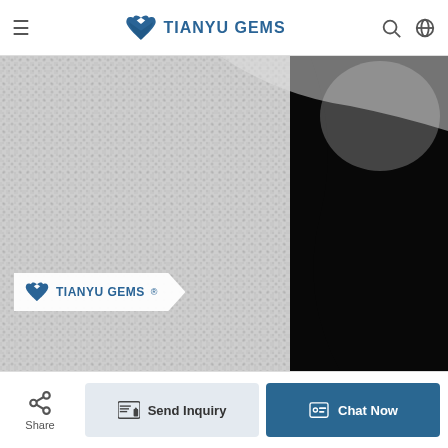TIANYU GEMS
[Figure (photo): Close-up product photo showing white mesh/net fabric texture on the left and black smooth fabric on the right, with Tianyu Gems watermark label overlaid on the image]
Share
Send Inquiry
Chat Now